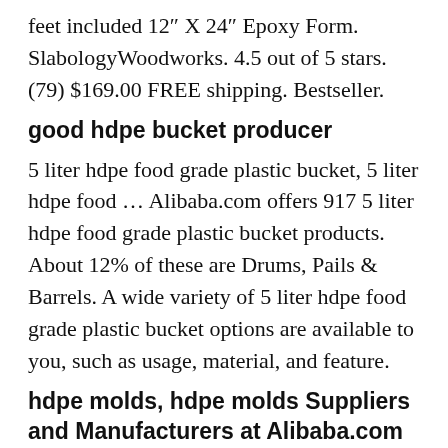feet included 12″ X 24″ Epoxy Form. SlabologyWoodworks. 4.5 out of 5 stars. (79) $169.00 FREE shipping. Bestseller.
good hdpe bucket producer
5 liter hdpe food grade plastic bucket, 5 liter hdpe food … Alibaba.com offers 917 5 liter hdpe food grade plastic bucket products. About 12% of these are Drums, Pails & Barrels. A wide variety of 5 liter hdpe food grade plastic bucket options are available to you, such as usage, material, and feature.
hdpe molds, hdpe molds Suppliers and Manufacturers at Alibaba.com
About product and suppliers: 406 hdpe molds products are offered for sale by suppliers on Alibaba.com, of which moulds accounts for 5%, plastic masterbatches accounts for 2%, and cake tools accounts for 1%. A wide variety of hdpe mold options are available to you, such as